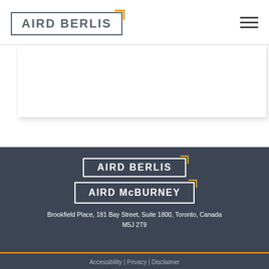[Figure (logo): Aird Berlis law firm logo in header with grey border and gold corner accent]
[Figure (logo): Hamburger menu icon (three horizontal lines)]
[Figure (logo): Aird Berlis logo in footer on dark background with gold corner accent]
[Figure (logo): Aird McBurney logo in footer on dark background with gold corner accent]
Brookfield Place, 181 Bay Street, Suite 1800, Toronto, Canada M5J 2T9
Accessibility | Privacy | Disclaimer